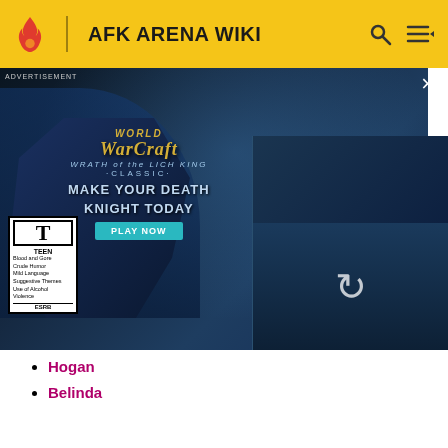AFK ARENA WIKI
[Figure (screenshot): World of Warcraft: Wrath of the Lich King Classic advertisement banner with ESRB Teen rating, showing a death knight and icy dragon imagery. Text: MAKE YOUR DEATH KNIGHT TODAY, PLAY NOW]
Hogan
Belinda
REWARDS
MAIN REWARDS
Elite Raine
Elite Gear x2
Faction Scrolls x5